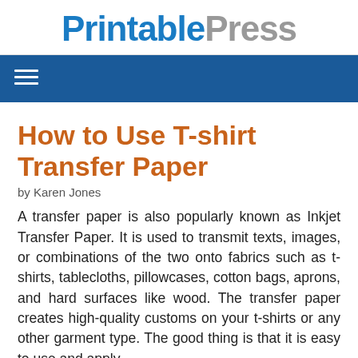PrintablePress
How to Use T-shirt Transfer Paper
by Karen Jones
A transfer paper is also popularly known as Inkjet Transfer Paper. It is used to transmit texts, images, or combinations of the two onto fabrics such as t-shirts, tablecloths, pillowcases, cotton bags, aprons, and hard surfaces like wood. The transfer paper creates high-quality customs on your t-shirts or any other garment type. The good thing is that it is easy to use and apply.